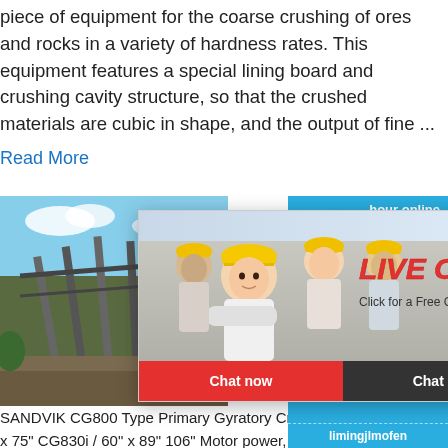piece of equipment for the coarse crushing of ores and rocks in a variety of hardness rates. This equipment features a special lining board and crushing cavity structure, so that the crushed materials are cubic in shape, and the output of fine ...
Read More
[Figure (photo): Industrial conveyor/crusher facility with steel structure and blue sky background]
[Figure (infographic): Live chat popup overlay with workers in hard hats, LIVE CHAT title, Chat now and Chat later buttons]
[Figure (photo): Right sidebar with blue background showing cone crusher machine, click to chat button, Enquiry section, and limingjlmofen text]
SANDVIK CG800 Type Primary Gyratory Crusher Model No. x 63" CG820i / 54" x 75" CG830i / 60" x 89" 106" Motor power, kW 315 525 660 950 Ma see "Subsuppliers list CG" see "Subsuppliers "Subsuppliers list CG" see "Subsuppliers lis
Read More